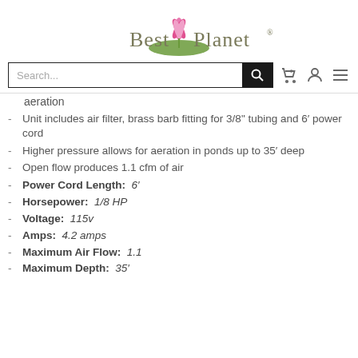[Figure (logo): Best Planet logo with pink lotus flower and green lily pad above stylized serif text]
[Figure (screenshot): Search bar with magnifying glass icon, cart icon, user icon, and hamburger menu icon]
aeration
Unit includes air filter, brass barb fitting for 3/8" tubing and 6' power cord
Higher pressure allows for aeration in ponds up to 35' deep
Open flow produces 1.1 cfm of air
Power Cord Length: 6'
Horsepower: 1/8 HP
Voltage: 115v
Amps: 4.2 amps
Maximum Air Flow: 1.1
Maximum Depth: 35'